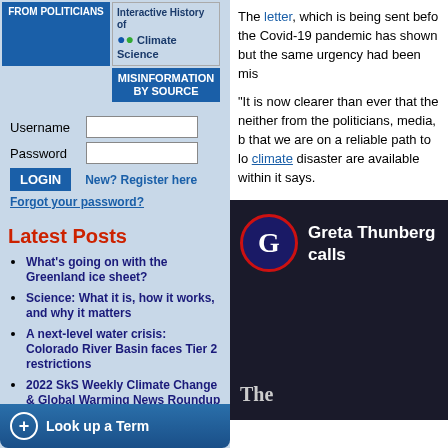[Figure (screenshot): Navigation buttons: FROM POLITICIANS (blue), Interactive History of Climate Science (logo), MISINFORMATION BY SOURCE (blue)]
Username
Password
LOGIN   New? Register here
Forgot your password?
Latest Posts
What's going on with the Greenland ice sheet?
Science: What it is, how it works, and why it matters
A next-level water crisis: Colorado River Basin faces Tier 2 restrictions
2022 SkS Weekly Climate Change & Global Warming News Roundup #34
Skeptical Science New Research for Week #34 2022
Cranky Uncle: a game building resilience against climate misinformation
Look up a Term
The letter, which is being sent befo the Covid-19 pandemic has shown but the same urgency had been mis
“It is now clearer than ever that the neither from the politicians, media, b that we are on a reliable path to lo climate disaster are available within it says.
[Figure (screenshot): Video thumbnail showing The Guardian logo (G in circle) with text 'Greta Thunberg calls' on dark background, and 'The' text at bottom]